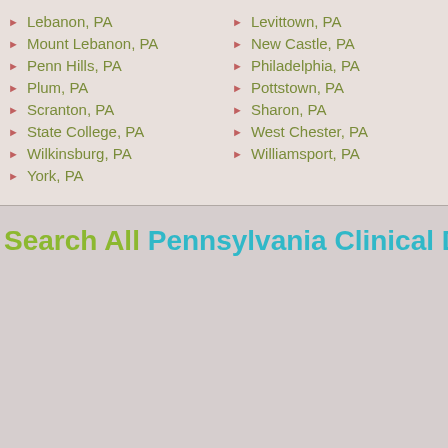Lebanon, PA
Mount Lebanon, PA
Penn Hills, PA
Plum, PA
Scranton, PA
State College, PA
Wilkinsburg, PA
York, PA
Levittown, PA
New Castle, PA
Philadelphia, PA
Pottstown, PA
Sharon, PA
West Chester, PA
Williamsport, PA
Search All Pennsylvania Clinical Data M